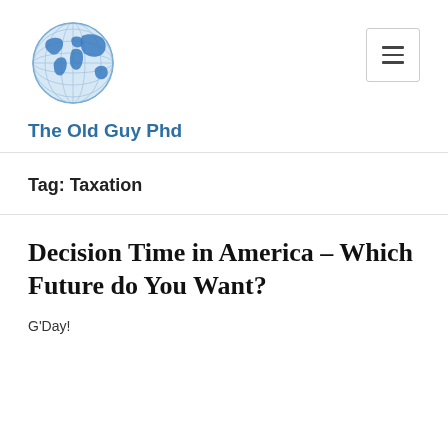[Figure (logo): Globe/world map logo icon in blue tones]
The Old Guy Phd
Tag: Taxation
Decision Time in America – Which Future do You Want?
G'Day!